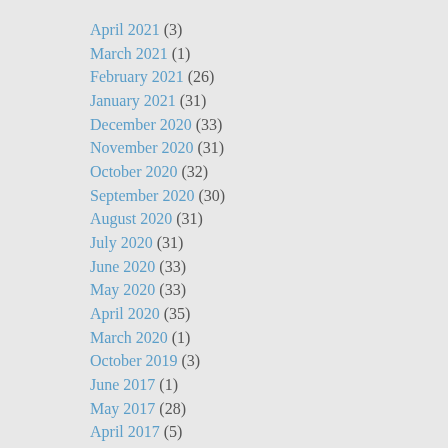April 2021 (3)
March 2021 (1)
February 2021 (26)
January 2021 (31)
December 2020 (33)
November 2020 (31)
October 2020 (32)
September 2020 (30)
August 2020 (31)
July 2020 (31)
June 2020 (33)
May 2020 (33)
April 2020 (35)
March 2020 (1)
October 2019 (3)
June 2017 (1)
May 2017 (28)
April 2017 (5)
December 2015 (1)
November 2015 (2)